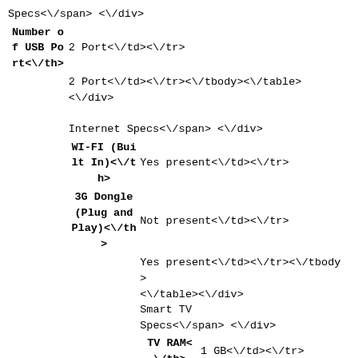Specs<\/span> <\/div><table class='spec_table'><tbody><tr><th class='spec_ttle'>Number of USB Port<\/th><td class='spec_des'>2 Port<\/td><\/tr><tr><th class='spec_ttle'>Number of HDMI Port<\/th><td class='spec_des'>2 Port<\/td><\/tr><\/tbody><\/table><\/div><div class='spec_box'><div class='spcsLeft'><span class='specHead'>Internet Specs<\/span> <\/div><table class='spec_table'><tbody><tr><th class='spec_ttle'>WI-FI (Built In)<\/th><td class='spec_des'>Yes present<\/td><\/tr><tr><th class='spec_ttle'>3G Dongle (Plug and Play)<\/th><td class='spec_des'>Not present<\/td><\/tr><tr><th class='spec_ttle'>Ethernet (RJ45)<\/th><td class='spec_des'>Yes present<\/td><\/tr><\/tbody><\/table><\/div><div class='spec_box'><div class='spcsLeft'><span class='specHead'>Smart TV Specs<\/span> <\/div><table class='spec_table'><tbody><tr><th class='spec_ttle'>TV RAM<\/th><td class='spec_des'>1 GB<\/td><\/tr><tr><th class='spec_ttle'>TV Operating System<\/th><td class='spec_des'>Android Based<\/td><\/tr><\/tbody><\/table><\/div>", "seo_title":null,"last_update":"2019-08-25T10:58:24.749000","rating_count":0,"resolution":"1920 x 1080 Pixels","grp":"electronics","usb_port":"2 Ports","type":"LED","price":31990,"vendor":[7],"description":null,"msp_product_id":"msf506741","tags":"i led tv electronics","brand":"i","screen_size":"30 inch - 33 inch","parent_category":"electronics","discount":0,"ori